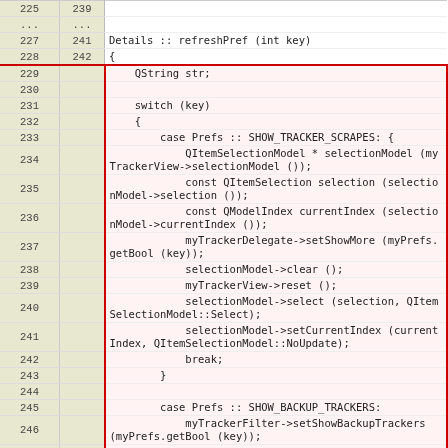| Line (old) | Line (new) | Code |
| --- | --- | --- |
| 225 | 239 |  |
| ... | ... |  |
| 227 | 241 | Details :: refreshPref (int key) |
| 228 | 242 | { |
| 229 |  |     QString str; |
| 230 |  |  |
| 231 |  |     switch (key) |
| 232 |  |     { |
| 233 |  |         case Prefs :: SHOW_TRACKER_SCRAPES: { |
| 234 |  |             QItemSelectionModel * selectionModel (myTrackerView->selectionModel ()); |
| 235 |  |             const QItemSelection selection (selectionModel->selection ()); |
| 236 |  |             const QModelIndex currentIndex (selectionModel->currentIndex ()); |
| 237 |  |             myTrackerDelegate->setShowMore (myPrefs.getBool (key)); |
| 238 |  |             selectionModel->clear (); |
| 239 |  |             myTrackerView->reset (); |
| 240 |  |             selectionModel->select (selection, QItemSelectionModel::Select); |
| 241 |  |             selectionModel->setCurrentIndex (currentIndex, QItemSelectionModel::NoUpdate); |
| 242 |  |             break; |
| 243 |  |         } |
| 244 |  |  |
| 245 |  |         case Prefs :: SHOW_BACKUP_TRACKERS: |
| 246 |  |             myTrackerFilter->setShowBackupTrackers (myPrefs.getBool (key)); |
| 247 |  |             break; |
| 248 |  |  |
| 249 |  |         default: |
| 250 |  |         break; |